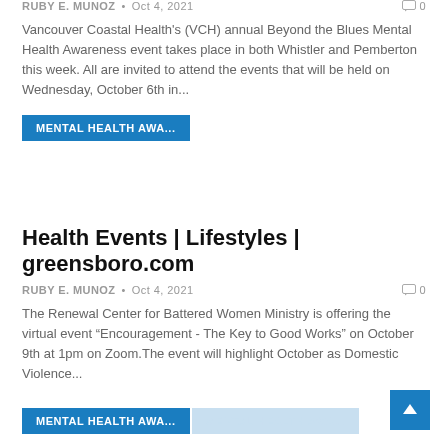RUBY E. MUNOZ • Oct 4, 2021  0
Vancouver Coastal Health's (VCH) annual Beyond the Blues Mental Health Awareness event takes place in both Whistler and Pemberton this week. All are invited to attend the events that will be held on Wednesday, October 6th in...
MENTAL HEALTH AWA...
Health Events | Lifestyles | greensboro.com
RUBY E. MUNOZ • Oct 4, 2021  0
The Renewal Center for Battered Women Ministry is offering the virtual event “Encouragement - The Key to Good Works” on October 9th at 1pm on Zoom.The event will highlight October as Domestic Violence...
MENTAL HEALTH AWA...